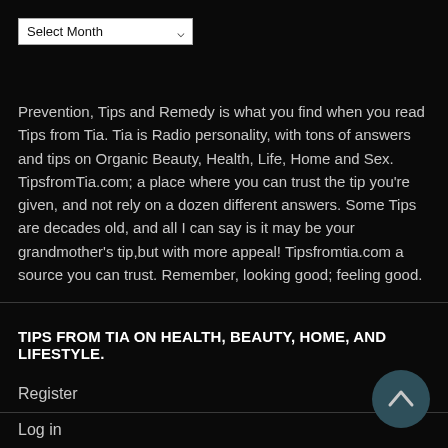[Figure (screenshot): A dropdown select box labeled 'Select Month' with a chevron arrow on the right side, white background with dark text.]
Prevention, Tips and Remedy is what you find when you read Tips from Tia. Tia is Radio personality, with tons of answers and tips on Organic Beauty, Health, Life, Home and Sex. TipsfromTia.com; a place where you can trust the tip you're given, and not rely on a dozen different answers. Some Tips are decades old, and all I can say is it may be your grandmother's tip,but with more appeal! Tipsfromtia.com a source you can trust. Remember, looking good; feeling good.
TIPS FROM TIA ON HEALTH, BEAUTY, HOME, AND LIFESTYLE.
Register
Log in